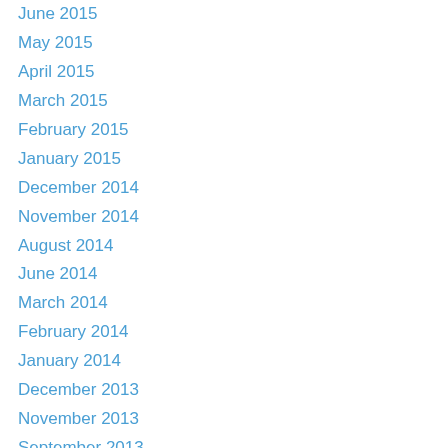June 2015
May 2015
April 2015
March 2015
February 2015
January 2015
December 2014
November 2014
August 2014
June 2014
March 2014
February 2014
January 2014
December 2013
November 2013
September 2013
August 2013
July 2013
March 2012
February 2012